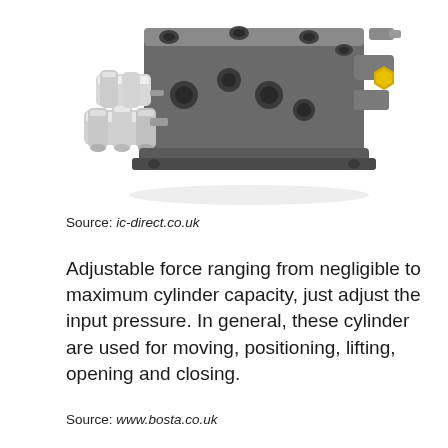[Figure (photo): A hydraulic valve or manifold block — dark gray machined metal body with multiple ports and holes, white cylindrical solenoid connectors on the left side, and a yellow/gold hex fitting on the right side.]
Source: ic-direct.co.uk
Adjustable force ranging from negligible to maximum cylinder capacity, just adjust the input pressure. In general, these cylinder are used for moving, positioning, lifting, opening and closing.
Source: www.bosta.co.uk